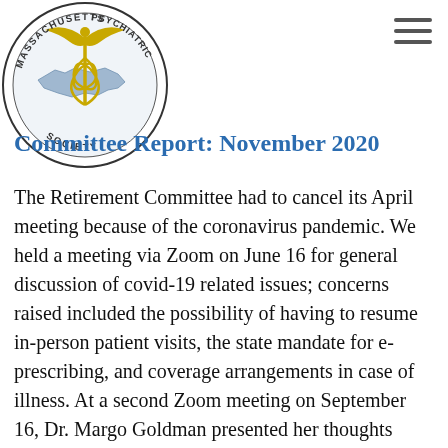[Figure (logo): Massachusetts Psychiatric Society circular logo with caduceus symbol, text reading MASSACHUSETTS PSYCHIATRIC SOCIETY around the border]
Committee Report: November 2020
The Retirement Committee had to cancel its April meeting because of the coronavirus pandemic. We held a meeting via Zoom on June 16 for general discussion of covid-19 related issues; concerns raised included the possibility of having to resume in-person patient visits, the state mandate for e-prescribing, and coverage arrangements in case of illness. At a second Zoom meeting on September 16, Dr. Margo Goldman presented her thoughts about retirement in this era of telepsychiatry, and a number of others shared their experiences. Dr. Eugene Fierman provided an update on the